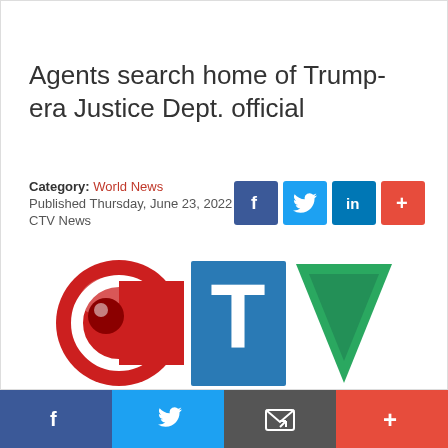Agents search home of Trump-era Justice Dept. official
Category: World News
Published Thursday, June 23, 2022
CTV News
[Figure (logo): CTV News logo with red C, blue T, and green V letters]
Social share bar with Facebook, Twitter, Email, and More buttons